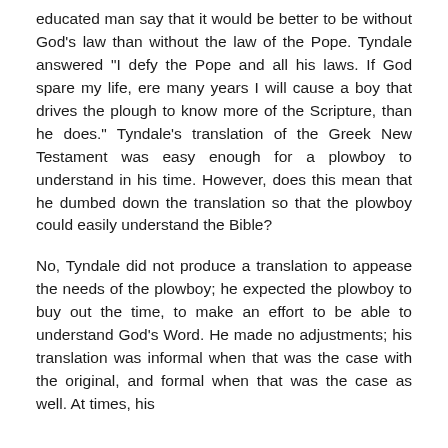educated man say that it would be better to be without God’s law than without the law of the Pope. Tyndale answered “I defy the Pope and all his laws. If God spare my life, ere many years I will cause a boy that drives the plough to know more of the Scripture, than he does.” Tyndale’s translation of the Greek New Testament was easy enough for a plowboy to understand in his time. However, does this mean that he dumbed down the translation so that the plowboy could easily understand the Bible?
No, Tyndale did not produce a translation to appease the needs of the plowboy; he expected the plowboy to buy out the time, to make an effort to be able to understand God’s Word. He made no adjustments; his translation was informal when that was the case with the original, and formal when that was the case as well. At times, his